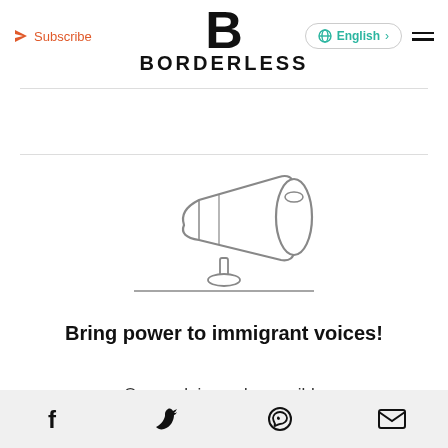Subscribe | BORDERLESS | English | Menu
[Figure (illustration): Line drawing of a megaphone/bullhorn on a stand, with a horizontal line beneath it]
Bring power to immigrant voices!
Our work is made possible
Facebook | Twitter | WhatsApp | Email icons